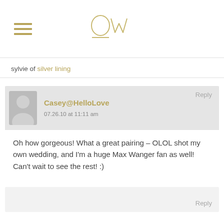OW (logo with hamburger menu)
sylvie of silver lining
Reply
Casey@HelloLove
07.26.10 at 11:11 am
Oh how gorgeous! What a great pairing – OLOL shot my own wedding, and I'm a huge Max Wanger fan as well! Can't wait to see the rest! :)
Reply